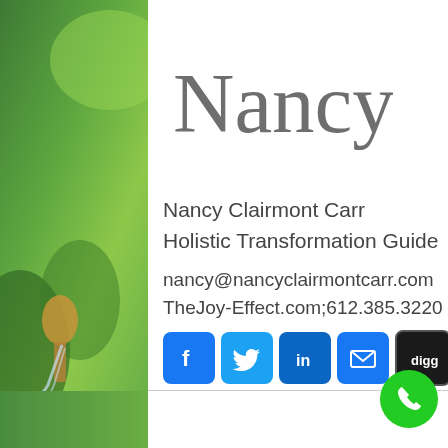[Figure (photo): Green blurred nature background on left and right sides with water pouring from a wooden spoon element on the left]
Nancy (cursive signature)
Nancy Clairmont Carr
Holistic Transformation Guide
nancy@nancyclairmontcarr.com
TheJoy-Effect.com;612.385.3220
[Figure (infographic): Social media sharing icons row: Facebook (f), Twitter (bird), LinkedIn (in), Email (envelope), Digg (digg), Share (+)]